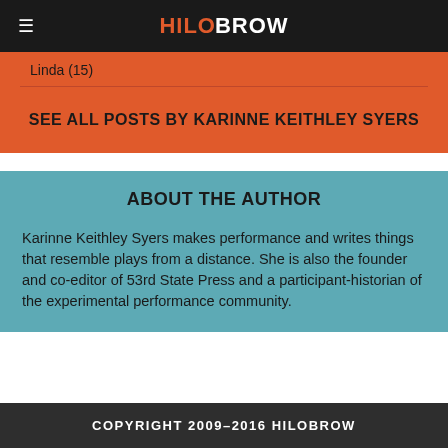HiloBrow
Linda (15)
SEE ALL POSTS BY KARINNE KEITHLEY SYERS
ABOUT THE AUTHOR
Karinne Keithley Syers makes performance and writes things that resemble plays from a distance. She is also the founder and co-editor of 53rd State Press and a participant-historian of the experimental performance community.
COPYRIGHT 2009–2016 HILOBROW